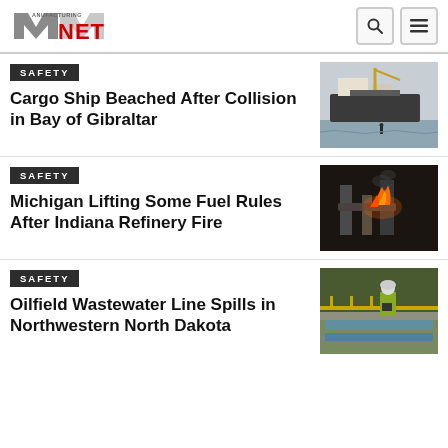Manufacturing.net
SAFETY
Cargo Ship Beached After Collision in Bay of Gibraltar
[Figure (photo): Large cargo ship beached near shore, with a crane visible and a person in the foreground]
SAFETY
Michigan Lifting Some Fuel Rules After Indiana Refinery Fire
[Figure (photo): Industrial pipes with fire and smoke visible at a refinery]
SAFETY
Oilfield Wastewater Line Spills in Northwestern North Dakota
[Figure (photo): Worker in hard hat and high-visibility vest working near industrial water treatment infrastructure]